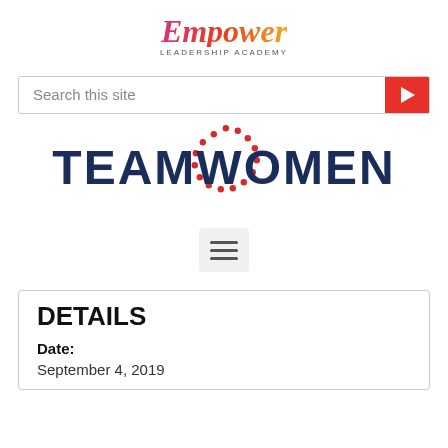[Figure (logo): Empower Leadership Academy logo with stylized italic text in pink-to-orange gradient and 'LEADERSHIP ACADEMY' subtitle]
[Figure (screenshot): Search bar with 'Search this site' placeholder text and red arrow button on the right]
[Figure (logo): TeamWomen logo with dark navy bold text and red dotted circle around the letter O]
[Figure (infographic): Hamburger menu icon with three horizontal lines on a light gray rounded rectangle background]
DETAILS
Date:
September 4, 2019